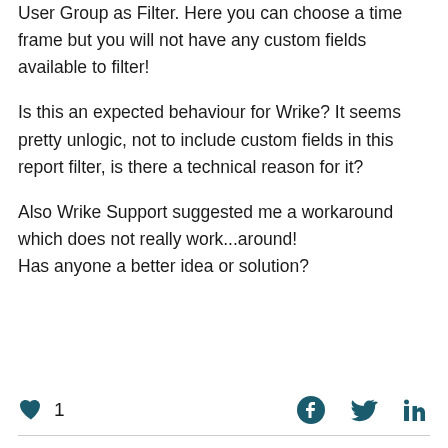User Group as Filter. Here you can choose a time frame but you will not have any custom fields available to filter!

Is this an expected behaviour for Wrike? It seems pretty unlogic, not to include custom fields in this report filter, is there a technical reason for it?
Also Wrike Support suggested me a workaround which does not really work...around!
Has anyone a better idea or solution?
♥ 1  [Facebook] [Twitter] [LinkedIn]